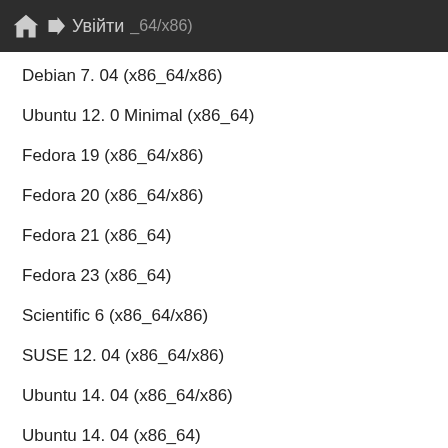Debian 7.04 (x86_64/x86) Увійти
Debian 7. 04 (x86_64/x86)
Ubuntu 12. 0 Minimal (x86_64)
Fedora 19 (x86_64/x86)
Fedora 20 (x86_64/x86)
Fedora 21 (x86_64)
Fedora 23 (x86_64)
Scientific 6 (x86_64/x86)
SUSE 12. 04 (x86_64/x86)
Ubuntu 14. 04 (x86_64/x86)
Ubuntu 14. 04 (x86_64)
Ubuntu 15. 04 Minimal (x86_64/x86)